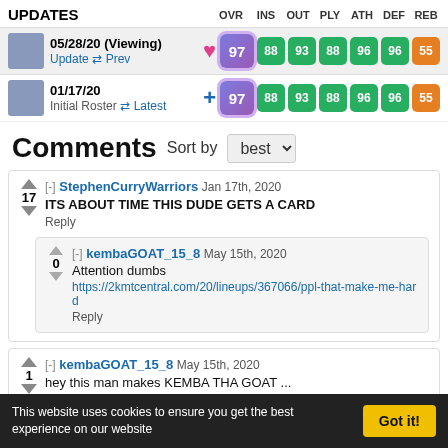UPDATES   OVR INS OUT PLY ATH DEF REB
| Date/Action | Icon | OVR | INS | OUT | PLY | ATH | DEF | REB |
| --- | --- | --- | --- | --- | --- | --- | --- | --- |
| 05/28/20 (Viewing) Update Prev | heart | 97 | 88 | 93 | 88 | 96 | 96 | 55 |
| 01/17/20 Initial Roster Latest | plus | 97 | 88 | 93 | 88 | 96 | 96 | 55 |
Comments Sort by best
StephenCurryWarriors Jan 17th, 2020
17
ITS ABOUT TIME THIS DUDE GETS A CARD
Reply
kembaGOAT_15_8 May 15th, 2020
0
Attention dumbs
https://2kmtcentral.com/20/lineups/367066/ppl-that-make-me-hard
Reply
kembaGOAT_15_8 May 15th, 2020
1
hey this man makes KEMBA THA GOAT ...
This website uses cookies to ensure you get the best experience on our website   Got it!